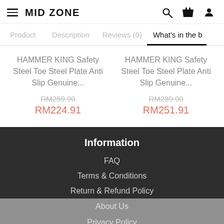MID ZONE
Product | Description | Reviews (0) | What's in the b
HAMMER KING Safety Steel Toe Steel Plate Anti Slip Genuine... RM259.90 RM224.91
HAMMER KING Safety Steel Toe Steel Plate Anti Slip Genuine... RM289.90 RM251.91
Information
FAQ
Terms & Conditions
Return & Refund Policy
About Us
Privacy Policy